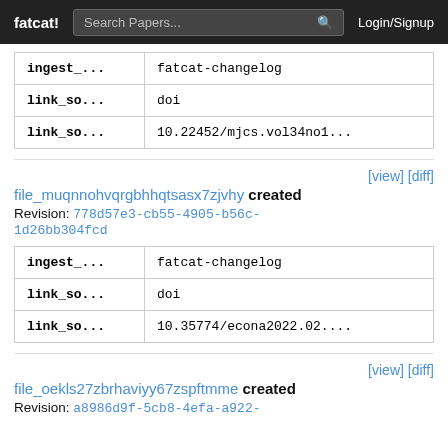fatcat! | Search Papers... | Login/Signup
| key | value |
| --- | --- |
| ingest_... | fatcat-changelog |
| link_so... | doi |
| link_so... | 10.22452/mjcs.vol34no1... |
[view] [diff] file_muqnnohvqrgbhhqtsasx7zjvhy created Revision: 778d57e3-cb55-4905-b56c-1d26bb304fcd
| key | value |
| --- | --- |
| ingest_... | fatcat-changelog |
| link_so... | doi |
| link_so... | 10.35774/econa2022.02.... |
[view] [diff] file_oekls27zbrhaviyy67zspftmme created Revision: a8986d9f-5cb8-4efa-a922-